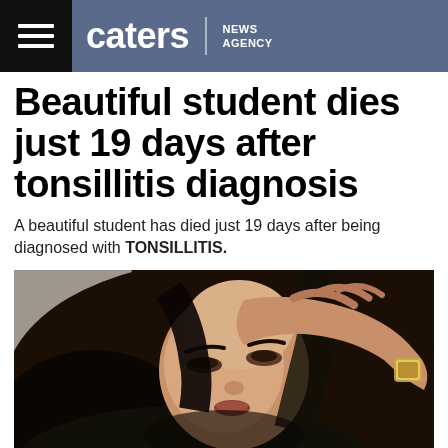caters NEWS AGENCY
Beautiful student dies just 19 days after tonsillitis diagnosis
A beautiful student has died just 19 days after being diagnosed with TONSILLITIS.
[Figure (photo): Young woman with dark hair lying down with her hand raised to her forehead, looking at the camera, wearing a bracelet.]